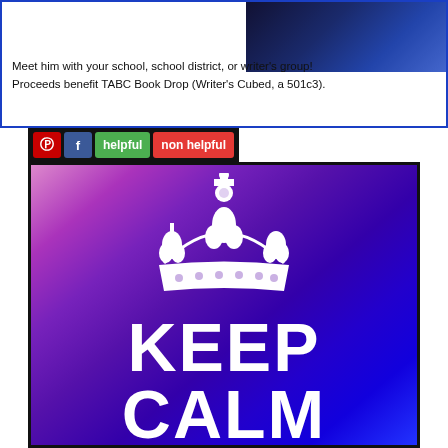Meet him with your school, school district, or writer's group! Proceeds benefit TABC Book Drop (Writer's Cubed, a 501c3).
[Figure (infographic): Social sharing toolbar with Pinterest (red P icon), Facebook (blue f icon), green 'helpful' button, and red 'non helpful' button]
[Figure (photo): Keep Calm and... poster with purple/blue gradient background, white crown illustration at top, bold white text reading KEEP CALM AND]